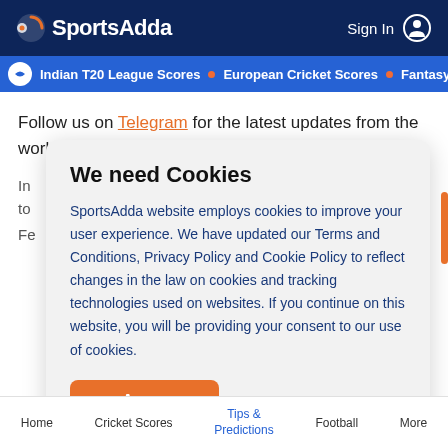SportsAdda  Sign In
Indian T20 League Scores • European Cricket Scores • Fantasy C
Follow us on Telegram for the latest updates from the world of sports!
In  of to
Fe
We need Cookies
SportsAdda website employs cookies to improve your user experience. We have updated our Terms and Conditions, Privacy Policy and Cookie Policy to reflect changes in the law on cookies and tracking technologies used on websites. If you continue on this website, you will be providing your consent to our use of cookies.
Agree
Home  Cricket Scores  Tips & Predictions  Football  More